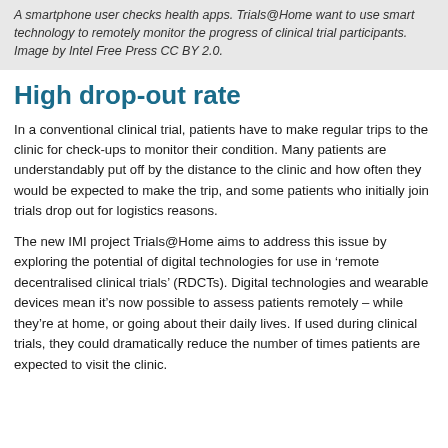A smartphone user checks health apps. Trials@Home want to use smart technology to remotely monitor the progress of clinical trial participants. Image by Intel Free Press CC BY 2.0.
High drop-out rate
In a conventional clinical trial, patients have to make regular trips to the clinic for check-ups to monitor their condition. Many patients are understandably put off by the distance to the clinic and how often they would be expected to make the trip, and some patients who initially join trials drop out for logistics reasons.
The new IMI project Trials@Home aims to address this issue by exploring the potential of digital technologies for use in ‘remote decentralised clinical trials’ (RDCTs). Digital technologies and wearable devices mean it’s now possible to assess patients remotely – while they’re at home, or going about their daily lives. If used during clinical trials, they could dramatically reduce the number of times patients are expected to visit the clinic.